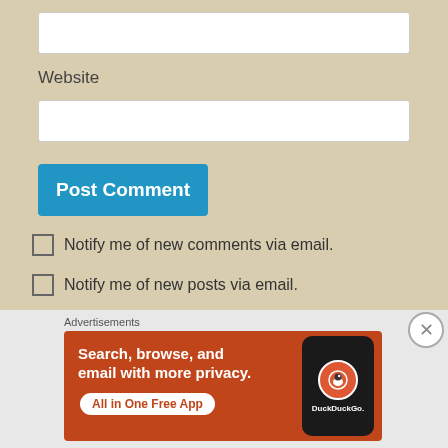Website
Post Comment
Notify me of new comments via email.
Notify me of new posts via email.
Advertisements
[Figure (screenshot): DuckDuckGo advertisement banner with orange background. Text reads: 'Search, browse, and email with more privacy. All in One Free App'. Shows a phone with DuckDuckGo logo and branding.]